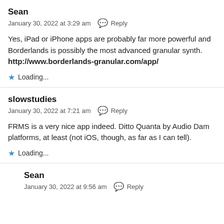Sean
January 30, 2022 at 3:29 am  Reply
Yes, iPad or iPhone apps are probably far more powerful and Borderlands is possibly the most advanced granular synth. http://www.borderlands-granular.com/app/
Loading...
slowstudies
January 30, 2022 at 7:21 am  Reply
FRMS is a very nice app indeed. Ditto Quanta by Audio Dam platforms, at least (not iOS, though, as far as I can tell).
Loading...
Sean
January 30, 2022 at 9:56 am  Reply